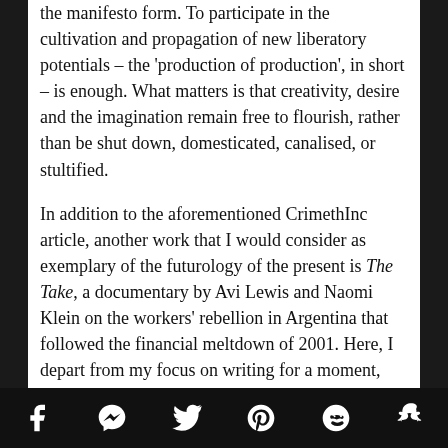the manifesto form. To participate in the cultivation and propagation of new liberatory potentials – the 'production of production', in short – is enough. What matters is that creativity, desire and the imagination remain free to flourish, rather than be shut down, domesticated, canalised, or stultified.
In addition to the aforementioned CrimethInc article, another work that I would consider as exemplary of the futurology of the present is The Take, a documentary by Avi Lewis and Naomi Klein on the workers' rebellion in Argentina that followed the financial meltdown of 2001. Here, I depart from my focus on writing for a moment, since the futurologist of the present need not necessarily be bound by the written word. The Take's activist filmmakers aimed to mobilise their
Facebook Messenger Twitter Pinterest Reddit Snapchat